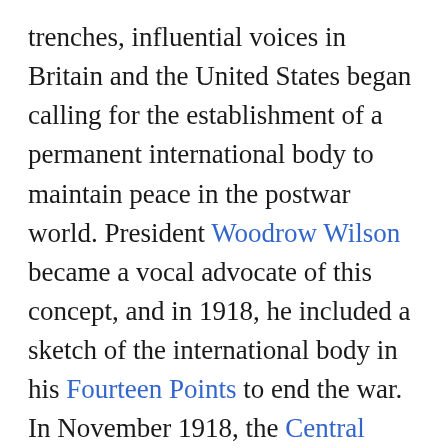trenches, influential voices in Britain and the United States began calling for the establishment of a permanent international body to maintain peace in the postwar world. President Woodrow Wilson became a vocal advocate of this concept, and in 1918, he included a sketch of the international body in his Fourteen Points to end the war. In November 1918, the Central Powers agreed to an armistice to halt the killing in World War I. Two months later, the Allies met to hammer out formal peace terms at the Paris Peace Conference. The League of Nations was approved, and in the summer of 1919 Wilson presented the Treaty of Versailles and the Covenant of the League of Nations to the US